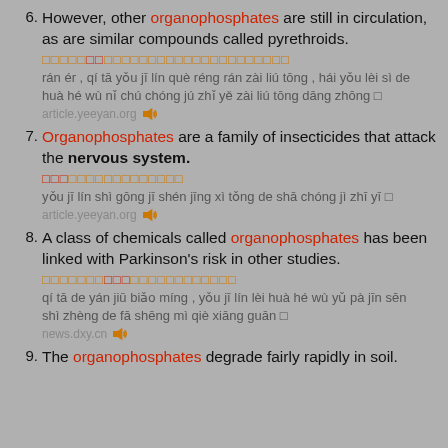6. However, other organophosphates are still in circulation, as are similar compounds called pyrethroids. [Chinese characters] rán ér , qí tā yǒu jī lín què réng rán zài liú tōng , hái yǒu lèi sì de huà hé wù nǐ chú chóng jú zhǐ yě zài liú tōng dāng zhōng。 article.yeeyan.org
7. Organophosphates are a family of insecticides that attack the nervous system. [Chinese characters] yǒu jī lín shì gōng jī shén jīng xì tǒng de shā chóng jì zhī yī。 article.yeeyan.org
8. A class of chemicals called organophosphates has been linked with Parkinson's risk in other studies. [Chinese characters] qí tā de yán jiū biǎo míng , yǒu jī lín lèi huà hé wù yǔ pà jīn sēn shì zhèng de fā shēng mì qiè xiāng guān。 news.dxy.cn
9. The organophosphates degrade fairly rapidly in soil.